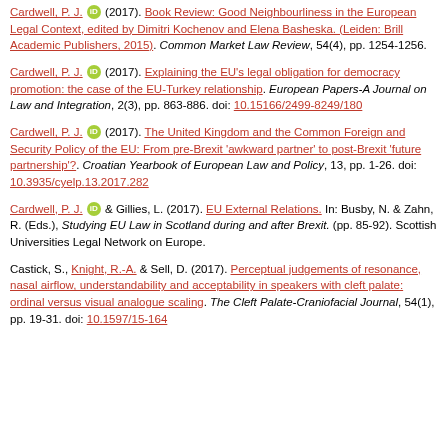Cardwell, P. J. (2017). Book Review: Good Neighbourliness in the European Legal Context, edited by Dimitri Kochenov and Elena Basheska. (Leiden: Brill Academic Publishers, 2015). Common Market Law Review, 54(4), pp. 1254-1256.
Cardwell, P. J. (2017). Explaining the EU's legal obligation for democracy promotion: the case of the EU-Turkey relationship. European Papers-A Journal on Law and Integration, 2(3), pp. 863-886. doi: 10.15166/2499-8249/180
Cardwell, P. J. (2017). The United Kingdom and the Common Foreign and Security Policy of the EU: From pre-Brexit 'awkward partner' to post-Brexit 'future partnership'?. Croatian Yearbook of European Law and Policy, 13, pp. 1-26. doi: 10.3935/cyelp.13.2017.282
Cardwell, P. J. & Gillies, L. (2017). EU External Relations. In: Busby, N. & Zahn, R. (Eds.), Studying EU Law in Scotland during and after Brexit. (pp. 85-92). Scottish Universities Legal Network on Europe.
Castick, S., Knight, R.-A. & Sell, D. (2017). Perceptual judgements of resonance, nasal airflow, understandability and acceptability in speakers with cleft palate: ordinal versus visual analogue scaling. The Cleft Palate-Craniofacial Journal, 54(1), pp. 19-31. doi: 10.1597/15-164